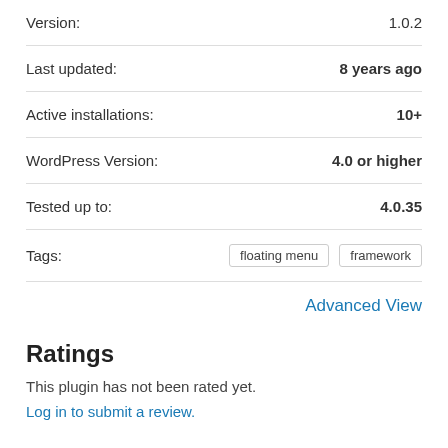| Version: | 1.0.2 |
| Last updated: | 8 years ago |
| Active installations: | 10+ |
| WordPress Version: | 4.0 or higher |
| Tested up to: | 4.0.35 |
| Tags: | floating menu  framework |
Advanced View
Ratings
This plugin has not been rated yet.
Log in to submit a review.